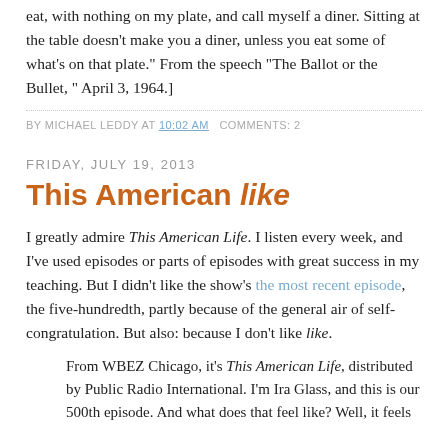eat, with nothing on my plate, and call myself a diner. Sitting at the table doesn't make you a diner, unless you eat some of what's on that plate." From the speech “The Ballot or the Bullet, " April 3, 1964.]
BY MICHAEL LEDDY AT 10:02 AM   COMMENTS: 2
FRIDAY, JULY 19, 2013
This American like
I greatly admire This American Life. I listen every week, and I've used episodes or parts of episodes with great success in my teaching. But I didn't like the show's the most recent episode, the five-hundredth, partly because of the general air of self-congratulation. But also: because I don't like like.
From WBEZ Chicago, it's This American Life, distributed by Public Radio International. I'm Ira Glass, and this is our 500th episode. And what does that feel like? Well, it feels